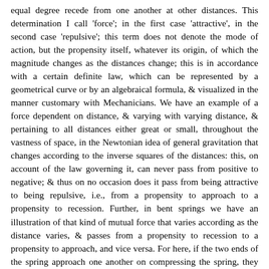equal degree recede from one another at other distances. This determination I call 'force'; in the first case 'attractive', in the second case 'repulsive'; this term does not denote the mode of action, but the propensity itself, whatever its origin, of which the magnitude changes as the distances change; this is in accordance with a certain definite law, which can be represented by a geometrical curve or by an algebraical formula, & visualized in the manner customary with Mechanicians. We have an example of a force dependent on distance, & varying with varying distance, & pertaining to all distances either great or small, throughout the vastness of space, in the Newtonian idea of general gravitation that changes according to the inverse squares of the distances: this, on account of the law governing it, can never pass from positive to negative; & thus on no occasion does it pass from being attractive to being repulsive, i.e., from a propensity to approach to a propensity to recession. Further, in bent springs we have an illustration of that kind of mutual force that varies according as the distance varies, & passes from a propensity to recession to a propensity to approach, and vice versa. For here, if the two ends of the spring approach one another on compressing the spring, they acquire a propensity for recession that is the greater, the more the distance diminishes between them as the spring is compressed. But, if the distance between the ends is increased, the force of recession is diminished, until at a certain distance it vanishes and becomes absolutely nothing. Then, if the distance is still further increased, there begins a propensity to approach, which increases